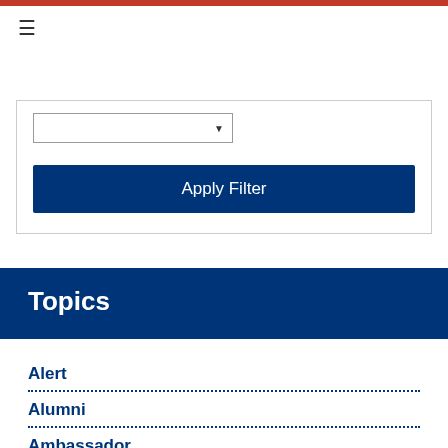[Figure (screenshot): Red top navigation bar with hamburger menu icon]
[Figure (screenshot): Dropdown filter input with arrow and Apply Filter button]
Topics
Alert
Alumni
Ambassador
American Spaces
Art & Culture
Business
Commercial Opportunities